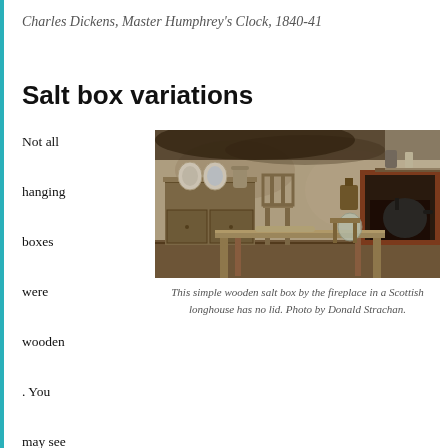Charles Dickens, Master Humphrey's Clock, 1840-41
Salt box variations
Not all hanging boxes were wooden. You may see relatively modern ones in enamelware or earthenware with a wooden hanger and
[Figure (photo): A simple wooden salt box by the fireplace in a Scottish longhouse interior, showing a wooden table, dresser with plates, chair, and fireplace with kettle. No lid on the salt box.]
This simple wooden salt box by the fireplace in a Scottish longhouse has no lid. Photo by Donald Strachan.